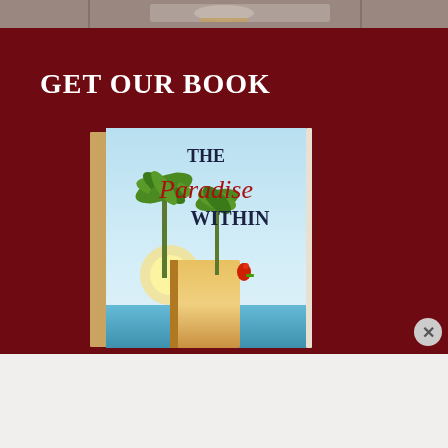[Figure (photo): Top portion showing a partial photo of a person in denim clothing with a necklace, on a dark red/maroon background]
GET OUR BOOK
[Figure (illustration): Book cover of 'The Paradise Within' showing a tropical scene with palm trees, a parrot, water, and a golden book, with light blue sky background. Title text in red script and dark navy font.]
Advertisements
[Figure (other): DuckDuckGo advertisement banner: orange left side reading 'Search, browse, and email with more privacy. All in One Free App' and dark right side with DuckDuckGo duck logo]